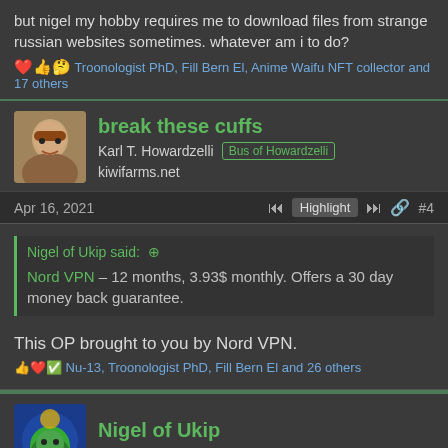but nigel my hobby requires me to download files from strange russian websites sometimes. whatever am i to do?
❤️👍🤔 Troonologist PhD, Fill Bern El, Anime Waifu NFT collector and 17 others
break these cuffs
Karl T. Howardzelli  kiwifarms.net
Apr 16, 2021  Highlight  #4
Nigel of Ukip said: Nord VPN – 12 months, 3.93$ monthly. Offers a 30 day money back guarantee.
This OP brought to you by Nord VPN.
👍❤️✅ Nu-13, Troonologist PhD, Fill Bern El and 26 others
Nigel of Ukip
Leader of the Exceptional Illuminati